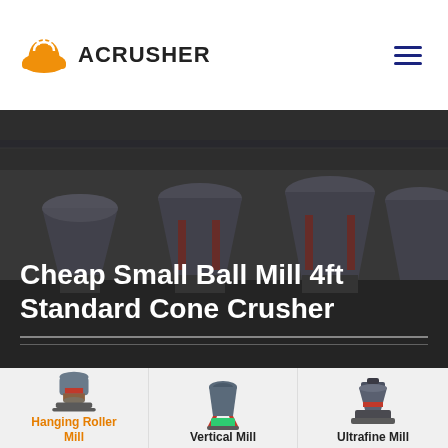ACRUSHER
Cheap Small Ball Mill 4ft Standard Cone Crusher
[Figure (photo): Industrial factory floor showing multiple large cone crushers and grinding mills in a manufacturing facility]
[Figure (photo): Hanging Roller Mill machine product image]
Hanging Roller Mill
[Figure (photo): Vertical Mill machine product image]
Vertical Mill
[Figure (photo): Ultrafine Mill machine product image]
Ultrafine Mill